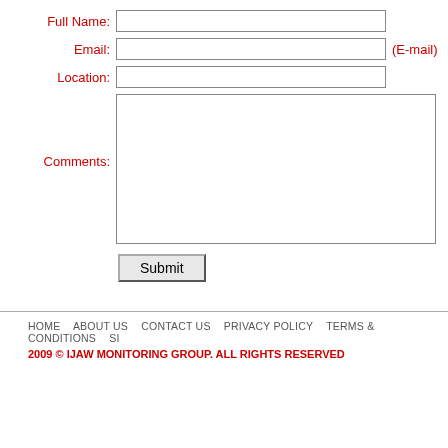Full Name:
Email: (E-mail)
Location:
Comments:
Submit
HOME   ABOUT US   CONTACT US   PRIVACY POLICY   TERMS & CONDITIONS   SI
2009 © IJAW MONITORING GROUP. ALL RIGHTS RESERVED